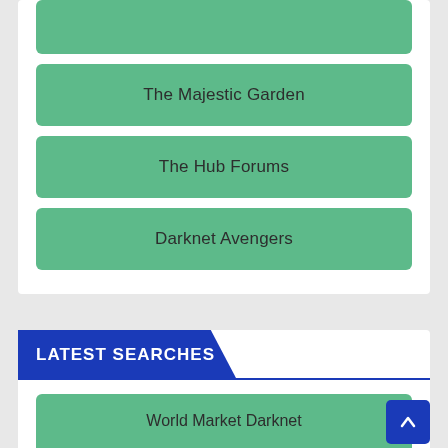The Majestic Garden
The Hub Forums
Darknet Avengers
LATEST SEARCHES
World Market Darknet
World Market
The Darknet Market